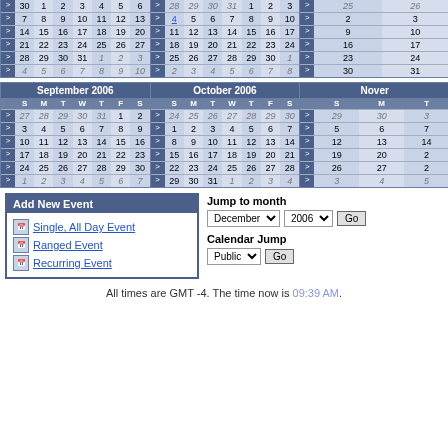| > | S | M | T | W | T | F | S |
| --- | --- | --- | --- | --- | --- | --- | --- |
| > | 30 | 1 | 2 | 3 | 4 | 5 | 6 |
| > | 7 | 8 | 9 | 10 | 11 | 12 | 13 |
| > | 14 | 15 | 16 | 17 | 18 | 19 | 20 |
| > | 21 | 22 | 23 | 24 | 25 | 26 | 27 |
| > | 28 | 29 | 30 | 31 | 1 | 2 | 3 |
| > | 4 | 5 | 6 | 7 | 8 | 9 | 10 |
| > | S | M | T | W | T | F | S |
| --- | --- | --- | --- | --- | --- | --- | --- |
| > | 28 | 29 | 30 | 31 | 1 | 2 | 3 |
| > | 4 | 5 | 6 | 7 | 8 | 9 | 10 |
| > | 11 | 12 | 13 | 14 | 15 | 16 | 17 |
| > | 18 | 19 | 20 | 21 | 22 | 23 | 24 |
| > | 25 | 26 | 27 | 28 | 29 | 30 | 1 |
| > | 2 | 3 | 4 | 5 | 6 | 7 | 8 |
| > | S | M | T | F | S |
| --- | --- | --- | --- | --- | --- |
| > | 25 | 26 | ... |
| > | 2 | 3 | ... |
| > | 9 | 10 | ... |
| > | 16 | 17 | ... |
| > | 23 | 24 | ... |
| > | 30 | 31 | ... |
September 2006
| > | S | M | T | W | T | F | S |
| --- | --- | --- | --- | --- | --- | --- | --- |
| > | 27 | 28 | 29 | 30 | 31 | 1 | 2 |
| > | 3 | 4 | 5 | 6 | 7 | 8 | 9 |
| > | 10 | 11 | 12 | 13 | 14 | 15 | 16 |
| > | 17 | 18 | 19 | 20 | 21 | 22 | 23 |
| > | 24 | 25 | 26 | 27 | 28 | 29 | 30 |
| > | 1 | 2 | 3 | 4 | 5 | 6 | 7 |
October 2006
| > | S | M | T | W | T | F | S |
| --- | --- | --- | --- | --- | --- | --- | --- |
| > | 24 | 25 | 26 | 27 | 28 | 29 | 30 |
| > | 1 | 2 | 3 | 4 | 5 | 6 | 7 |
| > | 8 | 9 | 10 | 11 | 12 | 13 | 14 |
| > | 15 | 16 | 17 | 18 | 19 | 20 | 21 |
| > | 22 | 23 | 24 | 25 | 26 | 27 | 28 |
| > | 29 | 30 | 31 | 1 | 2 | 3 | 4 |
November
| > | S | M | T |
| --- | --- | --- | --- |
| > | 29 | 30 | 3... |
| > | 5 | 6 | 7... |
| > | 12 | 13 | 14... |
| > | 19 | 20 | 2... |
| > | 26 | 27 | 2... |
| > | 3 | 4 | 5... |
Add New Event
Single, All Day Event
Ranged Event
Recurring Event
Jump to month
Calendar Jump
All times are GMT -4. The time now is 09:39 AM.